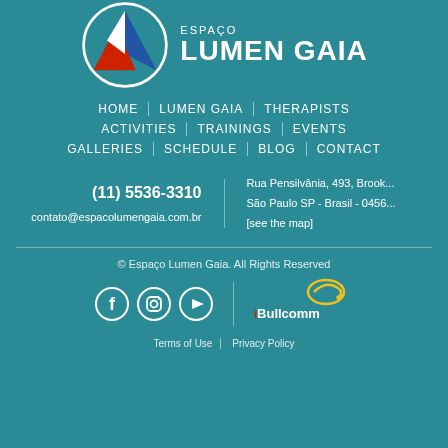[Figure (logo): Espaço Lumen Gaia logo with circular emblem containing red and blue triangles/shapes, and text ESPAÇO LUMEN GAIA]
HOME | LUMEN GAIA | THERAPISTS | ACTIVITIES | TRAININGS | EVENTS | GALLERIES | SCHEDULE | BLOG | CONTACT
(11) 5536-3310
contato@espacolumengaia.com.br
Rua Pensilvânia, 493, Brook...
São Paulo SP - Brasil - 0456...
[see the map]
© Espaço Lumen Gaia. All Rights Reserved
[Figure (logo): iBullcomm logo with yellow swirl graphic and red/white text]
Terms of Use | Privacy Policy